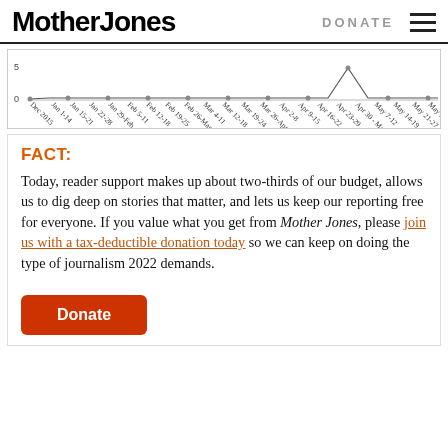Mother Jones | DONATE
[Figure (continuous-plot): Partial view of a time-series chart with x-axis date labels from Dec 2015 to May 27-June 2, with y-axis showing value 0 and 5 visible.]
FACT:
Today, reader support makes up about two-thirds of our budget, allows us to dig deep on stories that matter, and lets us keep our reporting free for everyone. If you value what you get from Mother Jones, please join us with a tax-deductible donation today so we can keep on doing the type of journalism 2022 demands.
Donate